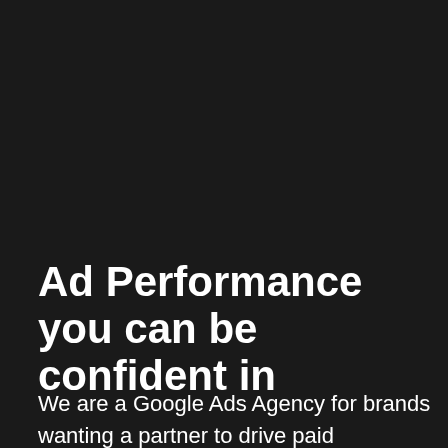Ad Performance you can be confident in
We are a Google Ads Agency for brands wanting a partner to drive paid performance growth.  With us, you'll always be dealing directly with Google Ads